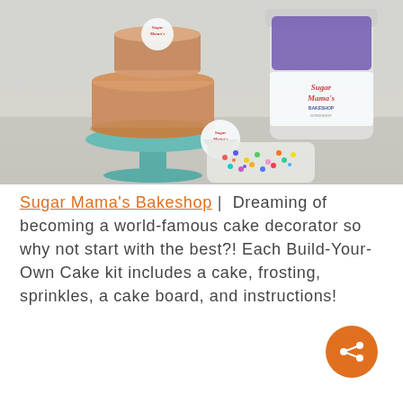[Figure (photo): Photo of Sugar Mama's Bakeshop Build-Your-Own Cake kit showing a cake on a teal cake stand, a container of Sugar Mama's frosting, a piping bag with Sugar Mama's logo sticker, and a bag of colorful sprinkles on a light blue/grey surface.]
Sugar Mama's Bakeshop | Dreaming of becoming a world-famous cake decorator so why not start with the best?! Each Build-Your-Own Cake kit includes a cake, frosting, sprinkles, a cake board, and instructions!